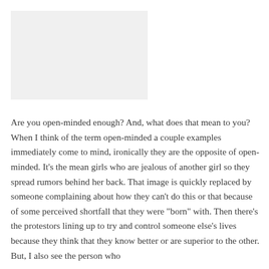[Figure (other): Placeholder image region, light gray background]
Are you open-minded enough? And, what does that mean to you? When I think of the term open-minded a couple examples immediately come to mind, ironically they are the opposite of open-minded. It’s the mean girls who are jealous of another girl so they spread rumors behind her back. That image is quickly replaced by someone complaining about how they can’t do this or that because of some perceived shortfall that they were “born” with. Then there’s the protestors lining up to try and control someone else’s lives because they think that they know better or are superior to the other. But, I also see the person who